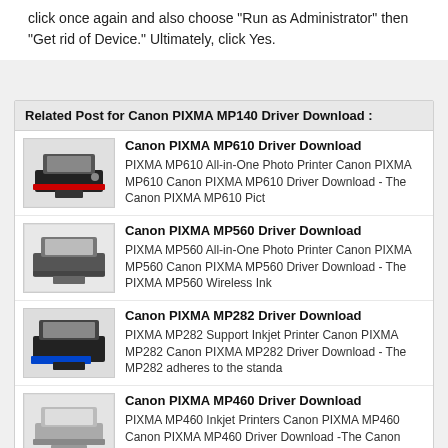click once again and also choose "Run as Administrator" then "Get rid of Device." Ultimately, click Yes.
Related Post for Canon PIXMA MP140 Driver Download :
Canon PIXMA MP610 Driver Download - PIXMA MP610 All-in-One Photo Printer Canon PIXMA MP610 Canon PIXMA MP610 Driver Download - The Canon PIXMA MP610 Pict
Canon PIXMA MP560 Driver Download - PIXMA MP560 All-in-One Photo Printer Canon PIXMA MP560 Canon PIXMA MP560 Driver Download - The PIXMA MP560 Wireless Ink
Canon PIXMA MP282 Driver Download - PIXMA MP282 Support Inkjet Printer Canon PIXMA MP282 Canon PIXMA MP282 Driver Download - The MP282 adheres to the standa
Canon PIXMA MP460 Driver Download - PIXMA MP460 Inkjet Printers Canon PIXMA MP460 Canon PIXMA MP460 Driver Download -The Canon PIXMA MP460 All-In-One Photo
Canon PIXMA MP260 Driver Download - PIXMA MP260 Inkjet Photo Printers Canon PIXMA MP260 Canon PIXMA MP260 Driver Download - Scanning is something typical